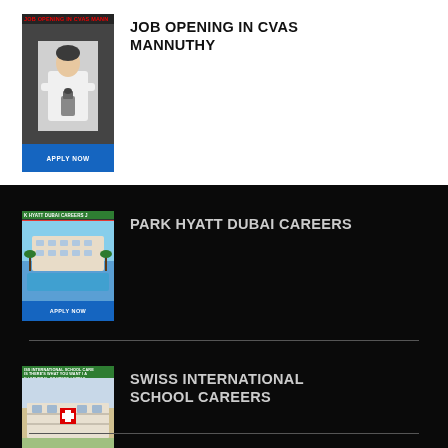[Figure (illustration): Thumbnail image for CVAS Mannuthy job opening showing a person at a microscope with APPLY NOW button]
JOB OPENING IN CVAS MANNUTHY
[Figure (illustration): Thumbnail image for Park Hyatt Dubai Careers showing hotel building with pool and APPLY NOW button]
PARK HYATT DUBAI CAREERS
[Figure (illustration): Thumbnail image for Swiss International School Careers showing school building and APPLY NOW button]
SWISS INTERNATIONAL SCHOOL CAREERS